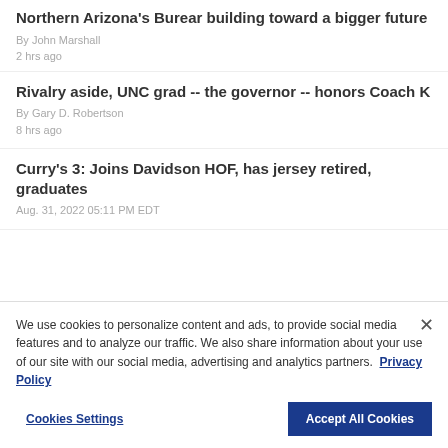Northern Arizona's Burear building toward a bigger future
By John Marshall
2 hrs ago
Rivalry aside, UNC grad -- the governor -- honors Coach K
By Gary D. Robertson
8 hrs ago
Curry's 3: Joins Davidson HOF, has jersey retired, graduates
Aug. 31, 2022 05:11 PM EDT
We use cookies to personalize content and ads, to provide social media features and to analyze our traffic. We also share information about your use of our site with our social media, advertising and analytics partners. Privacy Policy
Cookies Settings | Accept All Cookies